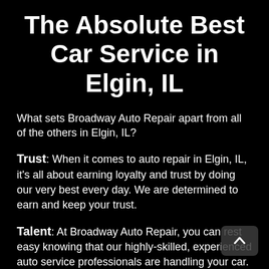The Absolute Best Car Service in Elgin, IL
What sets Broadway Auto Repair apart from all of the others in Elgin, IL?
Trust: When it comes to auto repair in Elgin, IL, it's all about earning loyalty and trust by doing our very best every day. We are determined to earn and keep your trust.
Talent: At Broadway Auto Repair, you can rest easy knowing that our highly-skilled, experienced auto service professionals are handling your car. Our technicians bring years of experience, skill, and education to the Elgin auto